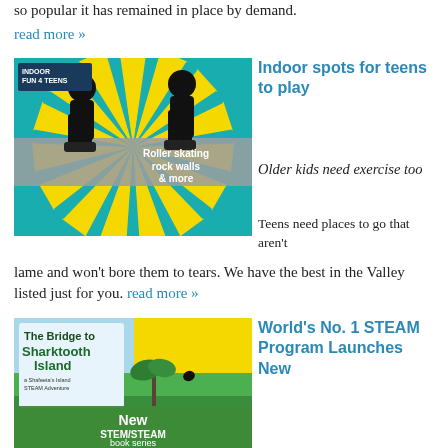so popular it has remained in place by demand.
read more »
[Figure (illustration): Indoor Fun 4 Teens promotional image with two silhouetted teens on roller skates against a teal and yellow sunburst background. Text overlay: 'Roller skating rock walls & more']
Indoor spots for teens to play
Older kids need exercise too
Teens need places to go that aren't lame and won't bore them to tears. We have the best in the Valley listed just for you. read more »
[Figure (illustration): Book cover: 'The Bridge to Sharktooth Island' - a Shafeeta's Island STEAM Adventure, with tropical island scene. Green banner at bottom: 'New STEM/STEAM book series']
World's No. 1 STEAM Program Launches New